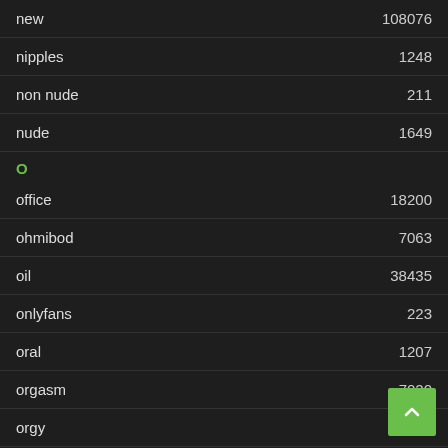new 108076
nipples 1248
non nude 211
nude 1649
O
office 18200
ohmibod 7063
oil 38435
onlyfans 223
oral 1207
orgasm 7020
orgy 71
outdoor 1313
P
panties